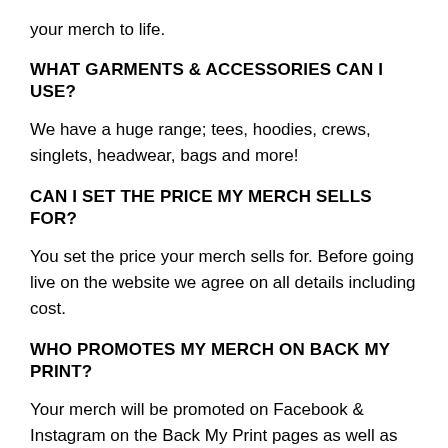your merch to life.
WHAT GARMENTS & ACCESSORIES CAN I USE?
We have a huge range; tees, hoodies, crews, singlets, headwear, bags and more!
CAN I SET THE PRICE MY MERCH SELLS FOR?
You set the price your merch sells for. Before going live on the website we agree on all details including cost.
WHO PROMOTES MY MERCH ON BACK MY PRINT?
Your merch will be promoted on Facebook & Instagram on the Back My Print pages as well as Screen Cultures. We encourage you to promote it on your pages as well!